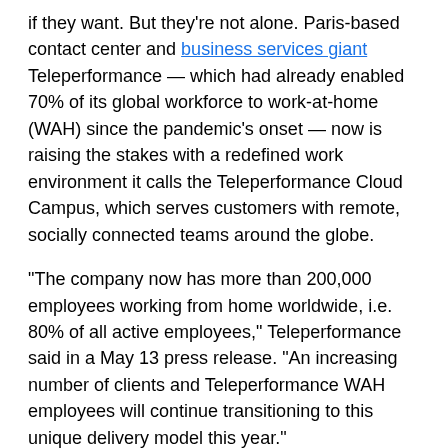if they want. But they're not alone. Paris-based contact center and business services giant Teleperformance — which had already enabled 70% of its global workforce to work-at-home (WAH) since the pandemic's onset — now is raising the stakes with a redefined work environment it calls the Teleperformance Cloud Campus, which serves customers with remote, socially connected teams around the globe.
“The company now has more than 200,000 employees working from home worldwide, i.e. 80% of all active employees,” Teleperformance said in a May 13 press release. “An increasing number of clients and Teleperformance WAH employees will continue transitioning to this unique delivery model this year.”
“In the past, I have seen Teleperformance reimagine traditional brick-and-mortar facilities to create beautiful, employee-centric campuses to care for their people while driving better client results,” said Michael DeSalles, principal analyst, Frost & Sullivan. “Now, by